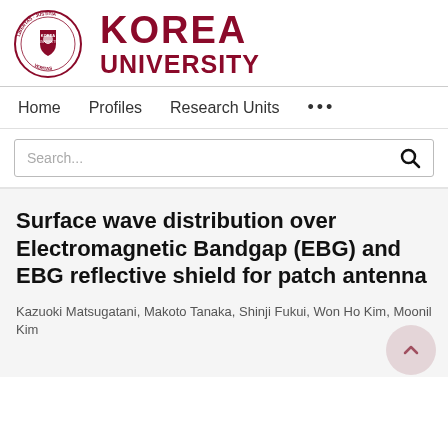[Figure (logo): Korea University logo: circular seal with text 'LIBERTAS JUSTITIA VERITAS' around the border and a shield emblem in the center, next to bold dark red text reading 'KOREA UNIVERSITY']
Home   Profiles   Research Units   ...
Search...
Surface wave distribution over Electromagnetic Bandgap (EBG) and EBG reflective shield for patch antenna
Kazuoki Matsugatani, Makoto Tanaka, Shinji Fukui, Won Ho Kim, Moonil Kim